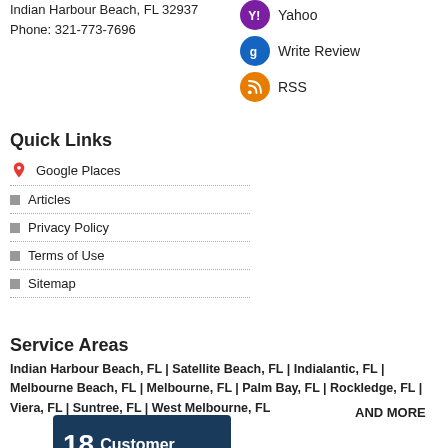Indian Harbour Beach, FL 32937
Phone: 321-773-7696
[Figure (infographic): Three circular social media/review icons: Yahoo (purple), Write Review (blue/Google), RSS (orange)]
Quick Links
Google Places
Articles
Privacy Policy
Terms of Use
Sitemap
Service Areas
Indian Harbour Beach, FL | Satellite Beach, FL | Indialantic, FL | Melbourne Beach, FL | Melbourne, FL | Palm Bay, FL | Rockledge, FL | Viera, FL | Suntree, FL | West Melbourne, FL
AND MORE
[Figure (infographic): Badge graphic showing '18 Customer' text on dark blue background with award medallion]